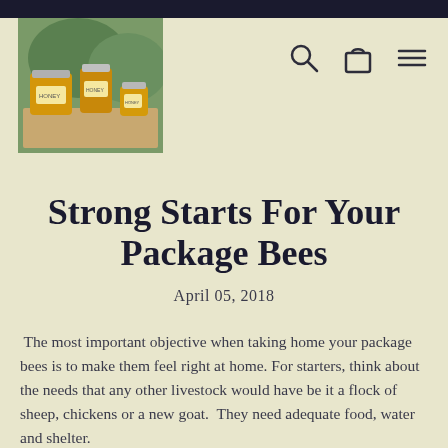[Figure (photo): Photo of honey jars with labels displayed on a wooden surface outdoors]
Strong Starts For Your Package Bees
April 05, 2018
The most important objective when taking home your package bees is to make them feel right at home. For starters, think about the needs that any other livestock would have be it a flock of sheep, chickens or a new goat.  They need adequate food, water and shelter.